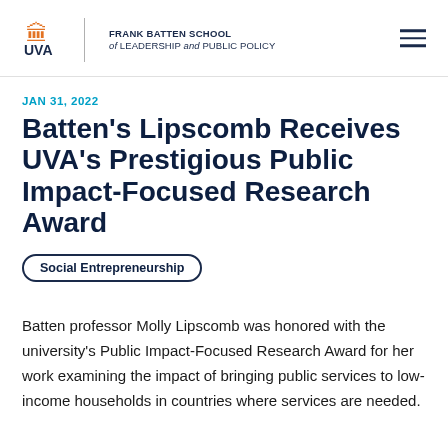UVA | FRANK BATTEN SCHOOL of LEADERSHIP and PUBLIC POLICY
JAN 31, 2022
Batten's Lipscomb Receives UVA's Prestigious Public Impact-Focused Research Award
Social Entrepreneurship
Batten professor Molly Lipscomb was honored with the university's Public Impact-Focused Research Award for her work examining the impact of bringing public services to low-income households in countries where services are needed.